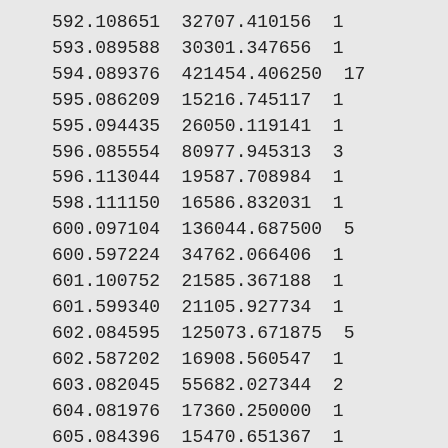| 592.108651 | 32707.410156 | 1 |
| 593.089588 | 30301.347656 | 1 |
| 594.089376 | 421454.406250 | 17 |
| 595.086209 | 15216.745117 | 1 |
| 595.094435 | 26050.119141 | 1 |
| 596.085554 | 80977.945313 | 3 |
| 596.113044 | 19587.708984 | 1 |
| 598.111150 | 16586.832031 | 1 |
| 600.097104 | 136044.687500 | 5 |
| 600.597224 | 34762.066406 | 1 |
| 601.100752 | 21585.367188 | 1 |
| 601.599340 | 21105.927734 | 1 |
| 602.084595 | 125073.671875 | 5 |
| 602.587202 | 16908.560547 | 1 |
| 603.082045 | 55682.027344 | 2 |
| 604.081976 | 17360.250000 | 1 |
| 605.084396 | 15470.651367 | 1 |
| 606.106223 | 172022.375000 | 7 |
| 607.113688 | 14942.418945 | 1 |
| 607.619777 | 18526.054688 | 1 |